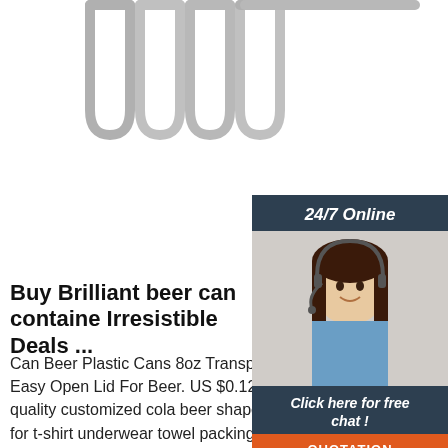[Figure (photo): Partial photo of metallic paperclip-like hooks/hangers, silver/chrome colored, visible at top-left of page]
[Figure (photo): Customer service chat widget with a woman wearing a headset smiling, dark blue background, header says 24/7 Online, text Click here for free chat!, orange QUOTATION button]
[Figure (illustration): TOP badge logo in orange with dotted arc above text]
Buy Brilliant beer can containe Irresistible Deals ...
Can Beer Plastic Cans 8oz Transpare Soda Can 250ml With Easy Open Lid For Beer. US $0.125-$0.165 Piece. ... High quality customized cola beer shape tin can metal container for t-shirt underwear towel packing. US $0.29-$1.29 ... tinplate 150ml metal food can